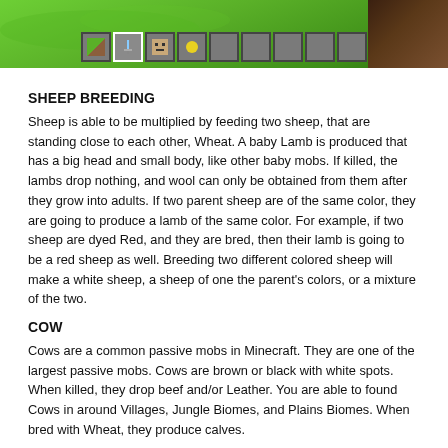[Figure (screenshot): Minecraft game screenshot showing a grassy green landscape with a hotbar/inventory bar at the bottom containing slots with items including a sword, a mob face, a flower/yellow item, and several empty slots.]
SHEEP BREEDING
Sheep is able to be multiplied by feeding two sheep, that are standing close to each other, Wheat. A baby Lamb is produced that has a big head and small body, like other baby mobs. If killed, the lambs drop nothing, and wool can only be obtained from them after they grow into adults. If two parent sheep are of the same color, they are going to produce a lamb of the same color. For example, if two sheep are dyed Red, and they are bred, then their lamb is going to be a red sheep as well. Breeding two different colored sheep will make a white sheep, a sheep of one the parent's colors, or a mixture of the two.
COW
Cows are a common passive mobs in Minecraft. They are one of the largest passive mobs. Cows are brown or black with white spots. When killed, they drop beef and/or Leather. You are able to found Cows in around Villages, Jungle Biomes, and Plains Biomes. When bred with Wheat, they produce calves.